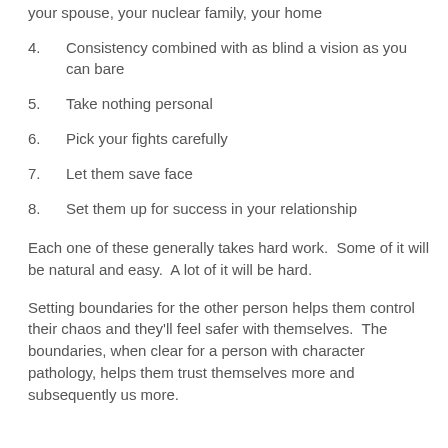your spouse, your nuclear family, your home
4.  Consistency combined with as blind a vision as you can bare
5.  Take nothing personal
6.  Pick your fights carefully
7.  Let them save face
8.  Set them up for success in your relationship
Each one of these generally takes hard work.  Some of it will be natural and easy.  A lot of it will be hard.
Setting boundaries for the other person helps them control their chaos and they'll feel safer with themselves.  The boundaries, when clear for a person with character pathology, helps them trust themselves more and subsequently us more.